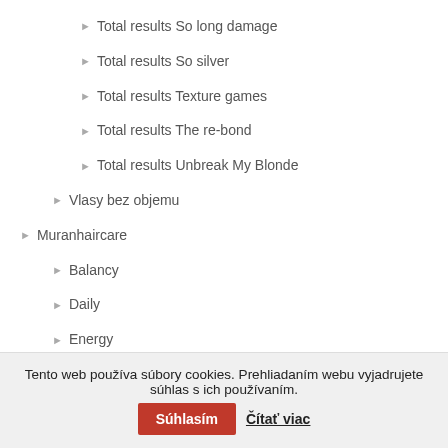Total results So long damage
Total results So silver
Total results Texture games
Total results The re-bond
Total results Unbreak My Blonde
Vlasy bez objemu
Muranhaircare
Balancy
Daily
Energy
Healthy
Purify
Tento web používa súbory cookies. Prehliadaním webu vyjadrujete súhlas s ich používaním. Súhlasím Čítať viac